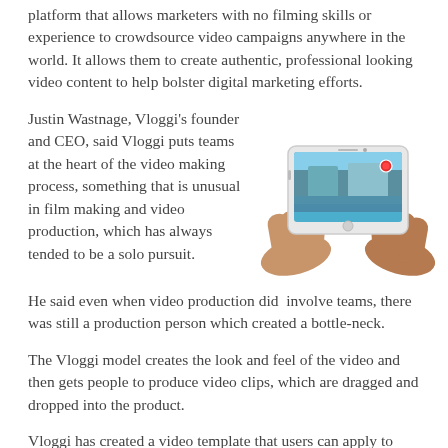platform that allows marketers with no filming skills or experience to crowdsource video campaigns anywhere in the world. It allows them to create authentic, professional looking video content to help bolster digital marketing efforts.
Justin Wastnage, Vloggi's founder and CEO, said Vloggi puts teams at the heart of the video making process, something that is unusual in film making and video production, which has always tended to be a solo pursuit.
[Figure (photo): Two hands holding a smartphone horizontally, displaying a scenic outdoor poolside image on screen with a red record button visible.]
He said even when video production did involve teams, there was still a production person which created a bottle-neck.
The Vloggi model creates the look and feel of the video and then gets people to produce video clips, which are dragged and dropped into the product.
Vloggi has created a video template that users can apply to their videos.
"You make the template once and you reuse it endlessly," Mr